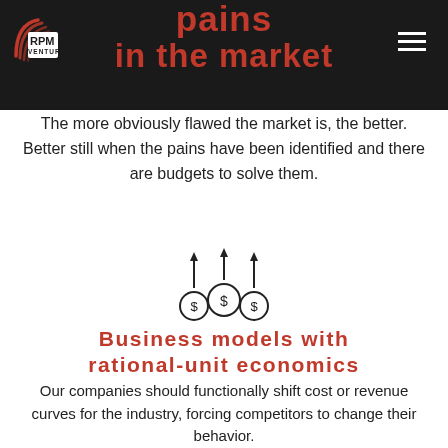RPM VENTURES
pains in the market
The more obviously flawed the market is, the better. Better still when the pains have been identified and there are budgets to solve them.
[Figure (illustration): Icon of three dollar-sign coins with upward arrows, representing business economics]
Business models with rational-unit economics
Our companies should functionally shift cost or revenue curves for the industry, forcing competitors to change their behavior.
[Figure (illustration): Icon of three people in a circle with arrows, representing a team]
Exceptional entrepreneurial teams